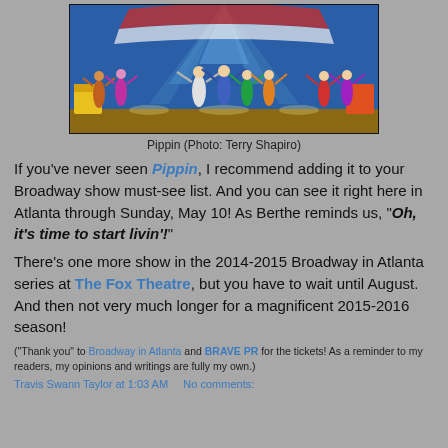[Figure (photo): Stage photo of the musical Pippin showing many performers with arms raised on a colorful circus-themed stage with blue backdrop]
Pippin (Photo: Terry Shapiro)
If you've never seen Pippin, I recommend adding it to your Broadway show must-see list. And you can see it right here in Atlanta through Sunday, May 10! As Berthe reminds us, "Oh, it's time to start livin'!"
There's one more show in the 2014-2015 Broadway in Atlanta series at The Fox Theatre, but you have to wait until August. And then not very much longer for a magnificent 2015-2016 season!
("Thank you" to Broadway in Atlanta and BRAVE PR for the tickets! As a reminder to my readers, my opinions and writings are fully my own.)
Travis Swann Taylor at 1:03 AM    No comments: